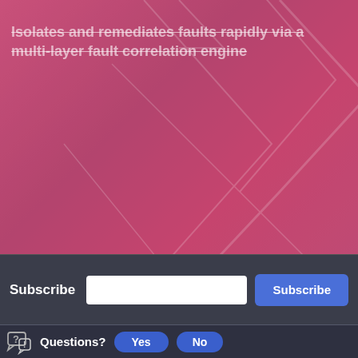[Figure (screenshot): Pink/crimson gradient background with decorative watermark arrow/chevron pattern, overlaid with strikethrough text reading 'Isolates and remediates faults rapidly via a multi-layer fault correlation engine']
Isolates and remediates faults rapidly via a multi-layer fault correlation engine
Subscribe
Subscribe (button)
× (close button)
Questions?
Yes
No